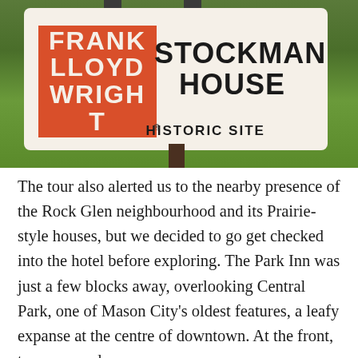[Figure (photo): Photograph of a Frank Lloyd Wright Historic Site sign for the Stockman House. The sign has an orange square with 'FRANK LLOYD WRIGHT' text in white on the left, and 'STOCKMAN HOUSE' in large black text on the right on a cream background. Below the orange square it reads 'HISTORIC SITE'. Green shrubs are visible in the background.]
The tour also alerted us to the nearby presence of the Rock Glen neighbourhood and its Prairie-style houses, but we decided to go get checked into the hotel before exploring.  The Park Inn was just a few blocks away, overlooking Central Park, one of Mason City's oldest features, a leafy expanse at the centre of downtown. At the front,  two recessed